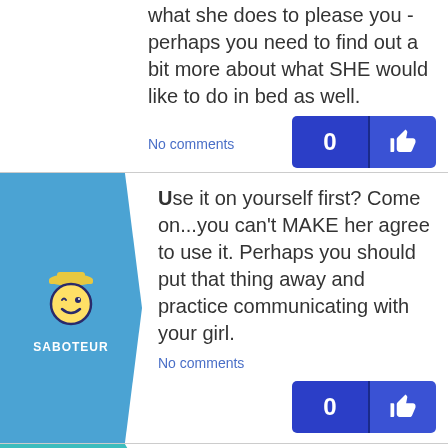what she does to please you - perhaps you need to find out a bit more about what SHE would like to do in bed as well.
No comments
[Figure (infographic): Vote button showing 0 count with thumbs up icon, dark blue]
[Figure (infographic): Saboteur mascot avatar - winking smiley face with graduation cap on blue background with arrow shape]
Use it on yourself first? Come on...you can't MAKE her agree to use it. Perhaps you should put that thing away and practice communicating with your girl.
No comments
[Figure (infographic): Vote button showing 0 count with thumbs up icon, dark blue]
[Figure (infographic): Saboteur mascot avatar on teal/cyan background - partial view at bottom]
Why do u wanna do it? Dont